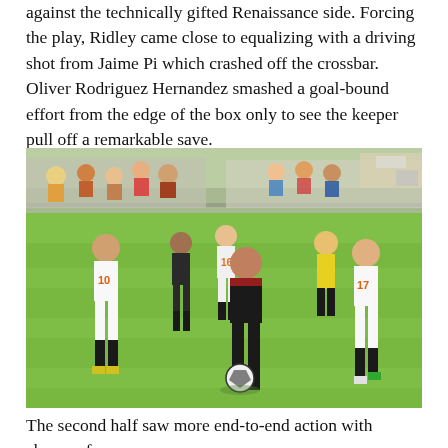against the technically gifted Renaissance side. Forcing the play, Ridley came close to equalizing with a driving shot from Jaime Pi which crashed off the crossbar. Oliver Rodriguez Hernandez smashed a goal-bound effort from the edge of the box only to see the keeper pull off a remarkable save.
[Figure (photo): Youth soccer match on a grass field. A player in a black and red jersey controls the ball while surrounded by players wearing white jerseys numbered 10, 16, and 17. A referee in yellow is visible in the background along with spectators.]
The second half saw more end-to-end action with chances for